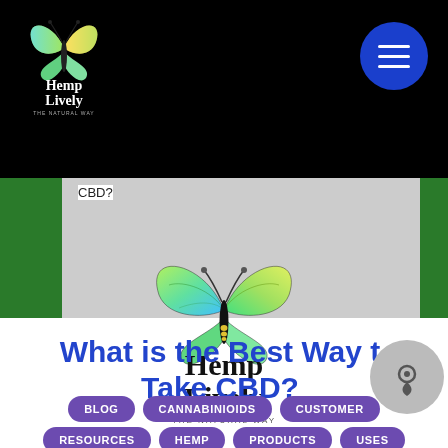Hemp Lively — The Natural Way (logo and navigation)
CBD?
[Figure (logo): Hemp Lively butterfly logo with text 'Hemp Lively The Natural Way' in center of page]
What is the Best Way to Take CBD?
BLOG
CANNABINIOIDS
CUSTOMER
RESOURCES
HEMP
PRODUCTS
USES